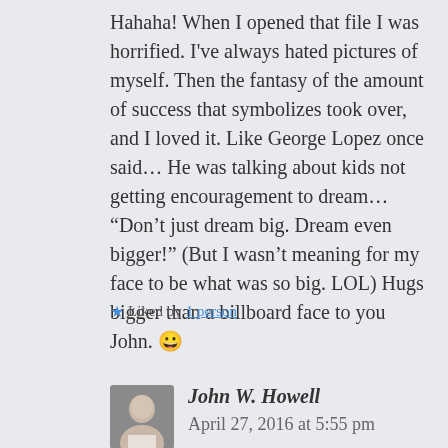Hahaha! When I opened that file I was horrified. I've always hated pictures of myself. Then the fantasy of the amount of success that symbolizes took over, and I loved it. Like George Lopez once said… He was talking about kids not getting encouragement to dream… “Don’t just dream big. Dream even bigger!” (But I wasn’t meaning for my face to be what was so big. LOL) Hugs bigger than a billboard face to you John. 😀
Liked by 1 person
John W. Howell   April 27, 2016 at 5:55 pm